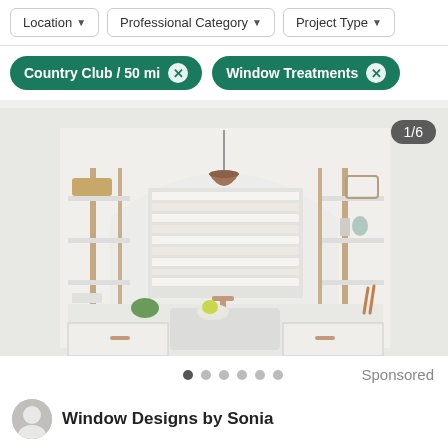Location ▼  |  Professional Category ▼  |  Project Type ▼
Country Club / 50 mi ✕   Window Treatments ✕
[Figure (photo): Kitchen interior with white shelving, arched niche, window with white horizontal blinds, copper pendant light, farmhouse sink and copper faucet. Image counter shows 1/6.]
Sponsored
Window Designs by Sonia